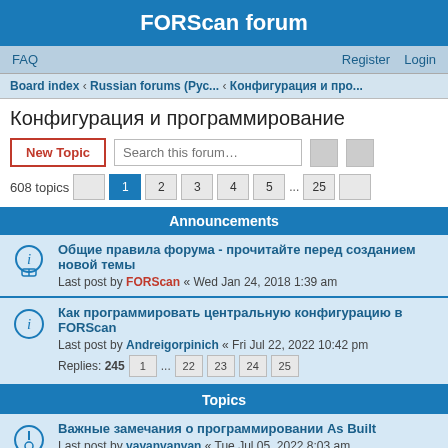FORScan forum
FAQ   Register   Login
Board index ‹ Russian forums (Рус... ‹ Конфигурация и про...
Конфигурация и программирование
New Topic   Search this forum…   608 topics   1 2 3 4 5 ... 25
Announcements
Общие правила форума - прочитайте перед созданием новой темы
Last post by FORScan « Wed Jan 24, 2018 1:39 am
Как программировать центральную конфигурацию в FORScan
Last post by Andreigorpinich « Fri Jul 22, 2022 10:42 pm
Replies: 245   1 ... 22 23 24 25
Topics
Важные замечания о программировании As Built
Last post by vavanvanvan « Tue Jul 05, 2022 8:03 am
Replies: 3